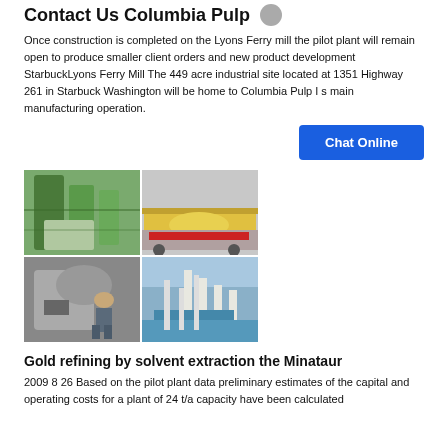Contact Us Columbia Pulp
Once construction is completed on the Lyons Ferry mill the pilot plant will remain open to produce smaller client orders and new product development StarbuckLyons Ferry Mill The 449 acre industrial site located at 1351 Highway 261 in Starbuck Washington will be home to Columbia Pulp I s main manufacturing operation.
[Figure (photo): A collage of four industrial photos showing mill and refinery equipment including large cylindrical tanks, a yellow drum being transported on a truck, workers inspecting equipment, and industrial piping/processing structures.]
Gold refining by solvent extraction the Minataur
2009 8 26 Based on the pilot plant data preliminary estimates of the capital and operating costs for a plant of 24 t/a capacity have been calculated